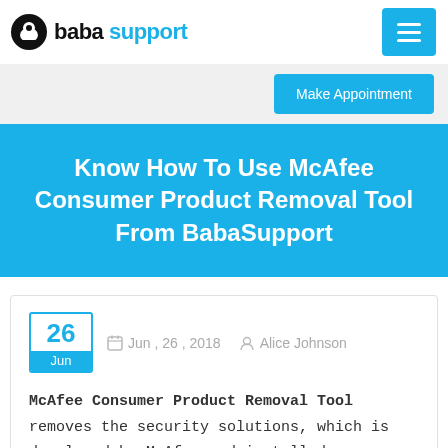baba support
Make Appointment
Know How To Use McAfee Consumer Product Removal Tool From BabaSupport
Jun , 26 , 2018   Alice Johnson
McAfee Consumer Product Removal Tool removes the security solutions, which is developed by McAfee and installed on a particular computer. McAfee is used for Consumer and Business purposes too. It provides